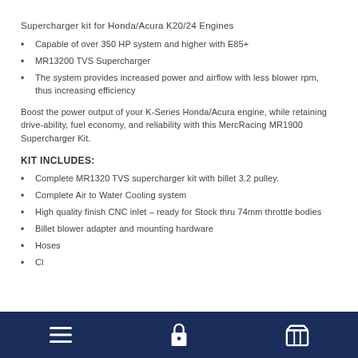Supercharger kit for Honda/Acura K20/24 Engines
Capable of over 350 HP system and higher with E85+
MR13200 TVS Supercharger
The system provides increased power and airflow with less blower rpm, thus increasing efficiency
Boost the power output of your K-Series Honda/Acura engine, while retaining drive-ability, fuel economy, and reliability with this MercRacing MR1900 Supercharger Kit.
KIT INCLUDES:
Complete MR1320 TVS supercharger kit with billet 3.2 pulley.
Complete Air to Water Cooling system
High quality finish CNC inlet – ready for Stock thru 74mm throttle bodies
Billet blower adapter and mounting hardware
Hoses
Navigation footer with menu, lock, and cart icons